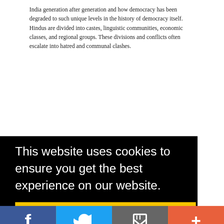India generation after generation and how democracy has been degraded to such unique levels in the history of democracy itself. Hindus are divided into castes, linguistic communities, economic classes, and regional groups. These divisions and conflicts often escalate into hatred and communal clashes.
This website uses cookies to ensure you get the best experience on our website.
Got it!
[Figure (other): Social share bar with Facebook (blue), Twitter (light blue), share/email (grey), and plus/add (red-orange) buttons at the bottom of the page.]